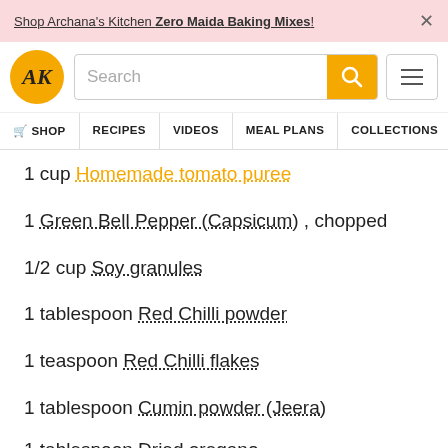Shop Archana's Kitchen Zero Maida Baking Mixes! ×
[Figure (logo): Archana's Kitchen AK logo orange circle with search bar and hamburger menu]
SHOP  RECIPES  VIDEOS  MEAL PLANS  COLLECTIONS  AR
1 cup Homemade tomato puree
1 Green Bell Pepper (Capsicum) , chopped
1/2 cup Soy granules
1 tablespoon Red Chilli powder
1 teaspoon Red Chilli flakes
1 tablespoon Cumin powder (Jeera)
1 tablespoon Dried oregano